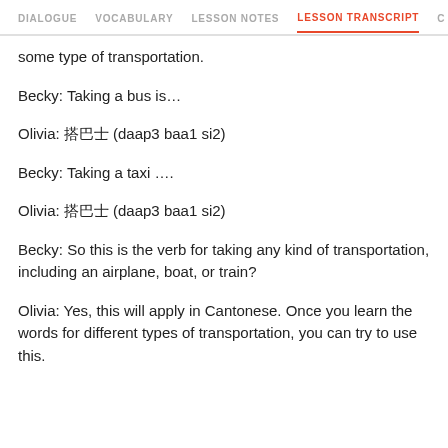DIALOGUE  VOCABULARY  LESSON NOTES  LESSON TRANSCRIPT  C
some type of transportation.
Becky: Taking a bus is…
Olivia: 搭巴士 (daap3 baa1 si2)
Becky: Taking a taxi ….
Olivia: 搭巴士 (daap3 baa1 si2)
Becky: So this is the verb for taking any kind of transportation, including an airplane, boat, or train?
Olivia: Yes, this will apply in Cantonese. Once you learn the words for different types of transportation, you can try to use this.